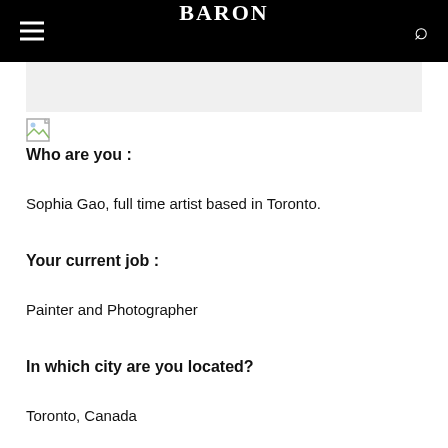BARON
[Figure (illustration): Broken image placeholder icon (small document with torn corner)]
Who are you :
Sophia Gao, full time artist based in Toronto.
Your current job :
Painter and Photographer
In which city are you located?
Toronto, Canada